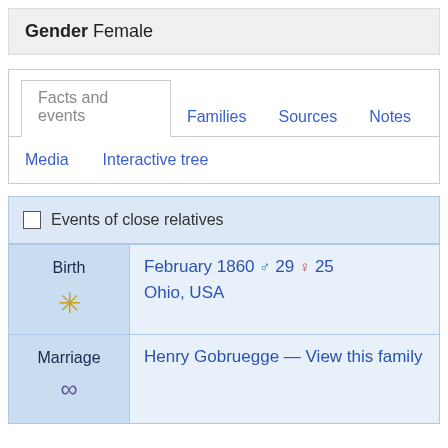Gender Female
Facts and events | Families | Sources | Notes | Media | Interactive tree
Events of close relatives
| Event | Details |
| --- | --- |
| Birth | February 1860 ♂ 29 ♀ 25
Ohio, USA |
| Marriage | Henry Gobruegge — View this family |